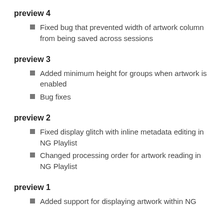preview 4
Fixed bug that prevented width of artwork column from being saved across sessions
preview 3
Added minimum height for groups when artwork is enabled
Bug fixes
preview 2
Fixed display glitch with inline metadata editing in NG Playlist
Changed processing order for artwork reading in NG Playlist
preview 1
Added support for displaying artwork within NG